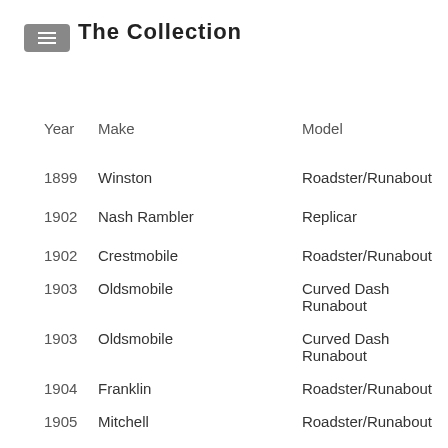The Collection
| Year | Make | Model |
| --- | --- | --- |
| 1899 | Winston | Roadster/Runabout |
| 1902 | Nash Rambler | Replicar |
| 1902 | Crestmobile | Roadster/Runabout |
| 1903 | Oldsmobile | Curved Dash Runabout |
| 1903 | Oldsmobile | Curved Dash Runabout |
| 1904 | Franklin | Roadster/Runabout |
| 1905 | Mitchell | Roadster/Runabout |
| 1905 | Rambler | Surrey |
| 1906 | Firestone-Columbus | Roadster/Runabout |
| 1907 | Jewel | Roadster/Runabout |
| 1908 | Maxwell | Roadster/Runabout |
| 1908 | International Motor | 1E Surrey |